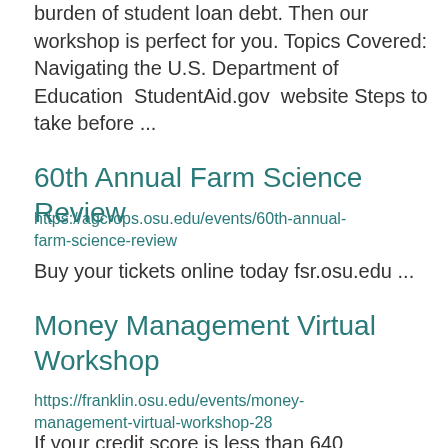burden of student loan debt.  Then our workshop is perfect for you.  Topics Covered: Navigating the U.S. Department of Education  StudentAid.gov  website Steps to take before ...
60th Annual Farm Science Review
https://agcrops.osu.edu/events/60th-annual-farm-science-review
Buy your tickets online today fsr.osu.edu ...
Money Management Virtual Workshop
https://franklin.osu.edu/events/money-management-virtual-workshop-28
If your credit score is less than 640